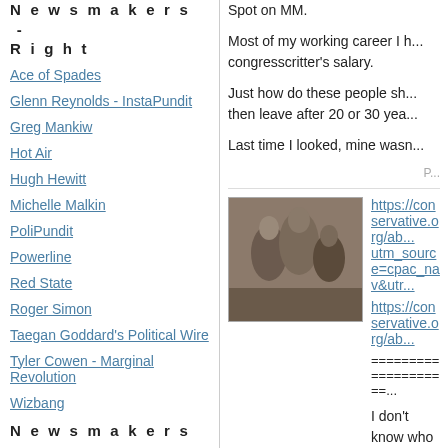Newsmakers - Right
Ace of Spades
Glenn Reynolds - InstaPundit
Greg Mankiw
Hot Air
Hugh Hewitt
Michelle Malkin
PoliPundit
Powerline
Red State
Roger Simon
Taegan Goddard's Political Wire
Tyler Cowen - Marginal Revolution
Wizbang
Newsmakers - Unclaimed
Ann Althouse
KC Johnson / Duke Lacrosse
Spot on MM.
Most of my working career I h... congresscritter's salary.
Just how do these people sh... then leave after 20 or 30 yea...
Last time I looked, mine wasn...
[Figure (photo): Old black and white family photo showing a group of people]
https://conservative.org/ab... utm_source=cpac_nav&utr...
https://conservative.org/ab...
=====================
I don't know who most of thes...
[Figure (photo): Photo of a small plane flying low over water]
Cohen on Crapital Hill pretty